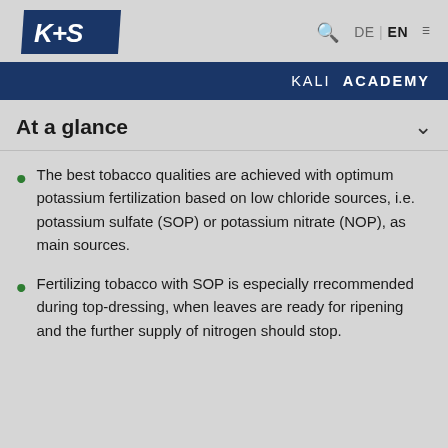K+S logo, search, DE | EN, menu
KALI ACADEMY
At a glance
The best tobacco qualities are achieved with optimum potassium fertilization based on low chloride sources, i.e. potassium sulfate (SOP) or potassium nitrate (NOP), as main sources.
Fertilizing tobacco with SOP is especially rrecommended during top-dressing, when leaves are ready for ripening and the further supply of nitrogen should stop.